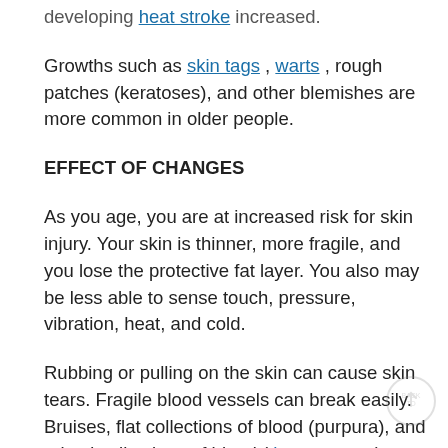developing heat stroke increased.
Growths such as skin tags , warts , rough patches (keratoses), and other blemishes are more common in older people.
EFFECT OF CHANGES
As you age, you are at increased risk for skin injury. Your skin is thinner, more fragile, and you lose the protective fat layer. You also may be less able to sense touch, pressure, vibration, heat, and cold.
Rubbing or pulling on the skin can cause skin tears. Fragile blood vessels can break easily. Bruises, flat collections of blood (purpura), and raised collections of blood ( hematomas ) may form after even a minor injury.